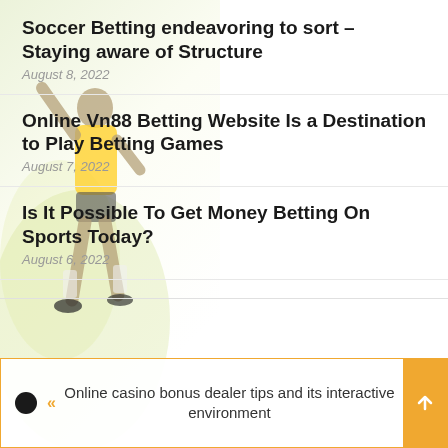Soccer Betting endeavoring to sort – Staying aware of Structure
August 8, 2022
Online Vn88 Betting Website Is a Destination to Play Betting Games
August 7, 2022
Is It Possible To Get Money Betting On Sports Today?
August 6, 2022
[Figure (illustration): Background illustration of a soccer player silhouette in yellow/green tones on the left side of the page]
« Online casino bonus dealer tips and its interactive environment